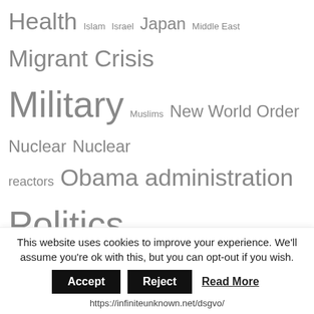[Figure (infographic): Tag cloud of topics including Health, Islam, Israel, Japan, Middle East, Migrant Crisis, Military, Muslims, New World Order, Nuclear, Nuclear reactors, Obama administration, Politics, Radiation, Russia, Science, Sex, Society, Syria, Technology, Terrorism, Trump administration, U.K., U.S. — displayed in varying font sizes in gray.]
Gold/Silver
[Figure (screenshot): 24 hour Gold chart showing value 1735.00, change -2.20. 24 hour Silver chart showing value 18.67, change -0.10. Mini price charts with y-axis labels 1760/1750 for gold and 19.20/19.00 for silver.]
This website uses cookies to improve your experience. We'll assume you're ok with this, but you can opt-out if you wish.
Accept   Reject   Read More
https://infiniteunknown.net/dsgvo/